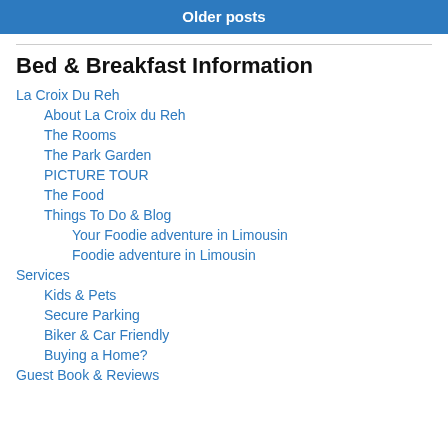Older posts
Bed & Breakfast Information
La Croix Du Reh
About La Croix du Reh
The Rooms
The Park Garden
PICTURE TOUR
The Food
Things To Do & Blog
Your Foodie adventure in Limousin
Foodie adventure in Limousin
Services
Kids & Pets
Secure Parking
Biker & Car Friendly
Buying a Home?
Guest Book & Reviews